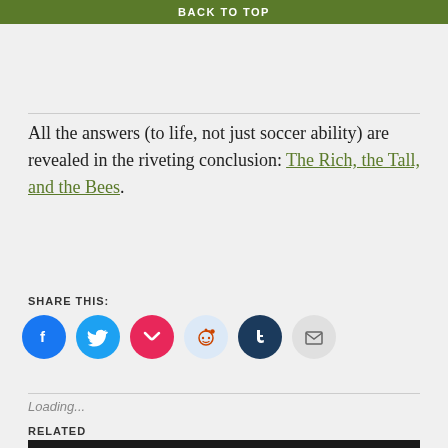someone actually wrote an excellent book about the last one:
BACK TO TOP
All the answers (to life, not just soccer ability) are revealed in the riveting conclusion: The Rich, the Tall, and the Bees.
SHARE THIS:
[Figure (infographic): Row of social share icon buttons: Facebook (blue circle with f), Twitter (blue circle with bird), Pocket (red circle with white P), Reddit (light blue circle with alien), Tumblr (dark navy circle with t), Email (grey circle with envelope)]
Loading...
RELATED